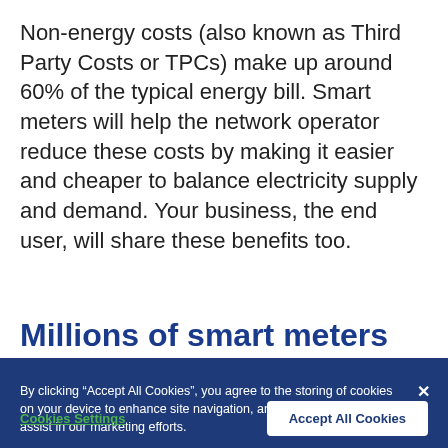Non-energy costs (also known as Third Party Costs or TPCs) make up around 60% of the typical energy bill. Smart meters will help the network operator reduce these costs by making it easier and cheaper to balance electricity supply and demand. Your business, the end user, will share these benefits too.
Millions of smart meters have
By clicking “Accept All Cookies”, you agree to the storing of cookies on your device to enhance site navigation, analyse site usage, and assist in our marketing efforts.
Cookies Settings
Accept All Cookies